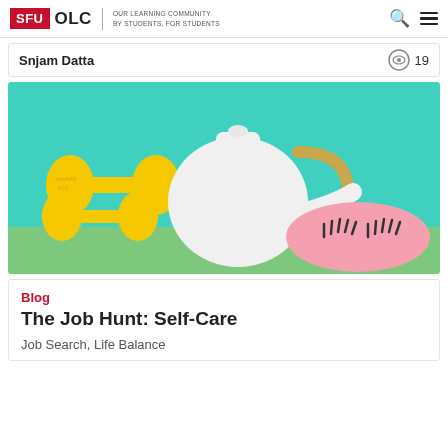SFU OLC | OUR LEARNING COMMUNITY BY STUDENTS, FOR STUDENTS
Snjam Datta  19
[Figure (photo): Photo of yellow dumbbells, a white teapot with gold handle, and a pink sleep mask with eyelash design on a teal background — self-care themed image]
Blog
The Job Hunt: Self-Care
Job Search, Life Balance